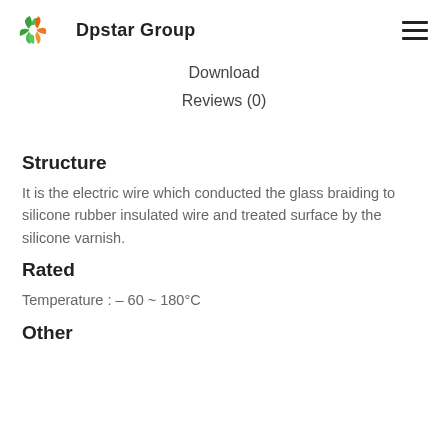Dpstar Group
Download
Reviews (0)
Structure
It is the electric wire which conducted the glass braiding to silicone rubber insulated wire and treated surface by the silicone varnish.
Rated
Temperature : – 60 ~ 180°C
Other